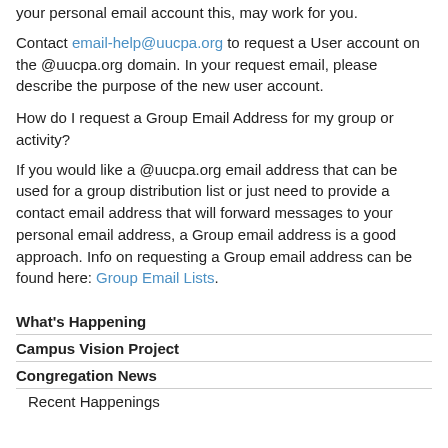your personal email account this, may work for you.
Contact email-help@uucpa.org to request a User account on the @uucpa.org domain. In your request email, please describe the purpose of the new user account.
How do I request a Group Email Address for my group or activity?
If you would like a @uucpa.org email address that can be used for a group distribution list or just need to provide a contact email address that will forward messages to your personal email address, a Group email address is a good approach. Info on requesting a Group email address can be found here: Group Email Lists.
What's Happening
Campus Vision Project
Congregation News
Recent Happenings